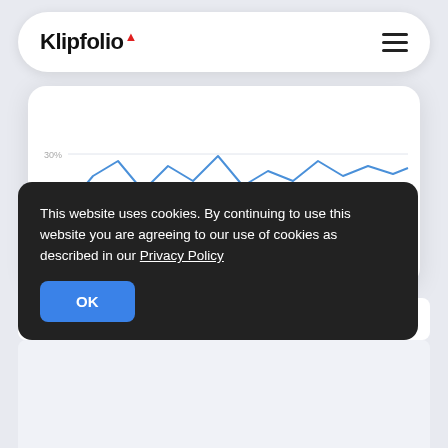[Figure (screenshot): Klipfolio logo with red chevron accent in a white rounded navigation bar with hamburger menu icon on the right]
[Figure (continuous-plot): Partial line chart visible inside a white card showing fluctuating lines with y-axis labels 30%, 15%, and 0]
Lead Conversion Rate →
leads
ales.
This website uses cookies. By continuing to use this website you are agreeing to our use of cookies as described in our Privacy Policy
OK